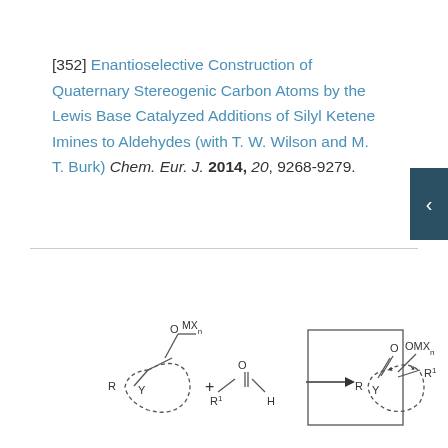[352] Enantioselective Construction of Quaternary Stereogenic Carbon Atoms by the Lewis Base Catalyzed Additions of Silyl Ketene Imines to Aldehydes (with T. W. Wilson and M. T. Burk) Chem. Eur. J. 2014, 20, 9268-9279.
[Figure (schematic): Chemical reaction scheme showing a silyl ketene imine (cyclic structure with O-MXn group, R substituent, and Y heteroatom) plus an aldehyde (R1-CHO) reacting through a box (catalyst) to give a product with quaternary stereocenter bearing R, Y (in ring), C=O, OMXn, and R1 groups, with two stereocenters marked by asterisks.]